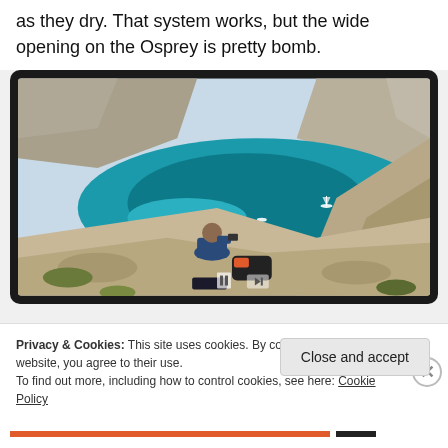as they dry. That system works, but the wide opening on the Osprey is pretty bomb.
[Figure (photo): A person sitting on rocky cliffs overlooking a turquoise coastal cove with sailboats, photographing the view. A backpack is beside them. Play/pause controls visible on the image.]
Privacy & Cookies: This site uses cookies. By continuing to use this website, you agree to their use.
To find out more, including how to control cookies, see here: Cookie Policy
Close and accept